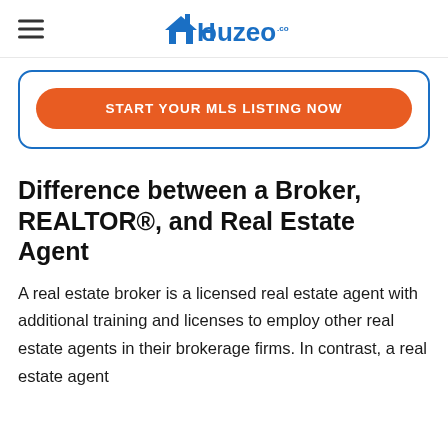Houzeo.com
[Figure (logo): Houzeo.com logo with house icon in blue]
START YOUR MLS LISTING NOW
Difference between a Broker, REALTOR®, and Real Estate Agent
A real estate broker is a licensed real estate agent with additional training and licenses to employ other real estate agents in their brokerage firms. In contrast, a real estate agent